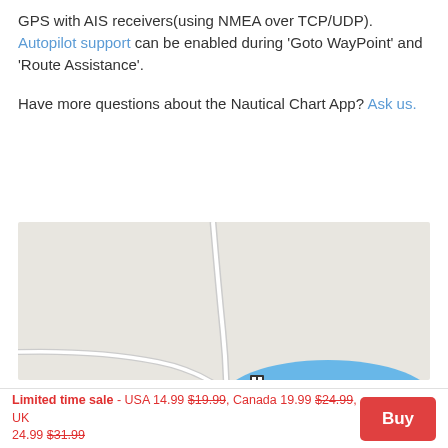GPS with AIS receivers(using NMEA over TCP/UDP). Autopilot support can be enabled during 'Goto WayPoint' and 'Route Assistance'.
Have more questions about the Nautical Chart App? Ask us.
[Figure (screenshot): Nautical chart app map screenshot showing a blue water body with depth markings and a marina/dock icon, on a light grey land background with road lines.]
Limited time sale - USA 14.99 $19.99, Canada 19.99 $24.99, UK 24.99 $31.99